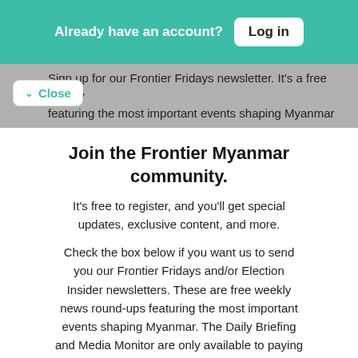Already have an account? Log in
Sign up for our Frontier Fridays newsletter. It's a free weekly featuring the most important events shaping Myanmar
Close
Join the Frontier Myanmar community.
It's free to register, and you'll get special updates, exclusive content, and more.
Check the box below if you want us to send you our Frontier Fridays and/or Election Insider newsletters. These are free weekly news round-ups featuring the most important events shaping Myanmar. The Daily Briefing and Media Monitor are only available to paying members.